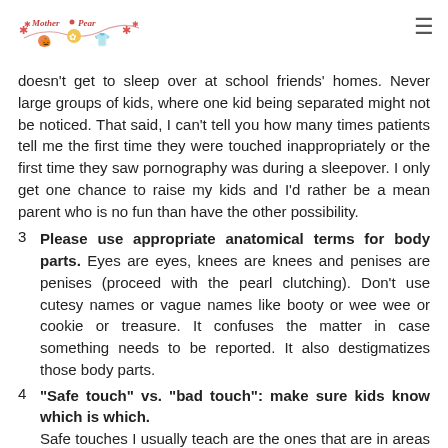Mother Pear [logo]
doesn't get to sleep over at school friends' homes. Never large groups of kids, where one kid being separated might not be noticed. That said, I can't tell you how many times patients tell me the first time they were touched inappropriately or the first time they saw pornography was during a sleepover. I only get one chance to raise my kids and I'd rather be a mean parent who is no fun than have the other possibility.
3  Please use appropriate anatomical terms for body parts. Eyes are eyes, knees are knees and penises are penises (proceed with the pearl clutching). Don't use cutesy names or vague names like booty or wee wee or cookie or treasure. It confuses the matter in case something needs to be reported. It also destigmatizes those body parts.
4  "Safe touch" vs. "bad touch": make sure kids know which is which. Safe touches I usually teach are the ones that are in areas not covered by your bathing suit, like shoulders, head and feet.